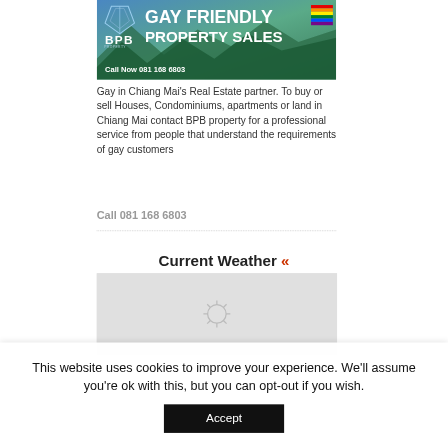[Figure (illustration): BPB Property advertisement banner. Blue/green scenic background with mountains and trees. BPB logo (blue diamond shape) on left, bold white text reading 'GAY FRIENDLY PROPERTY SALES', rainbow flag icon top right, 'Call Now 081 168 6803' at bottom left.]
Gay in Chiang Mai's Real Estate partner. To buy or sell Houses, Condominiums, apartments or land in Chiang Mai contact BPB property for a professional service from people that understand the requirements of gay customers
Call 081 168 6803
Current Weather «
[Figure (other): Light gray weather widget box with a faint sun/loading icon in the center]
This website uses cookies to improve your experience. We'll assume you're ok with this, but you can opt-out if you wish.